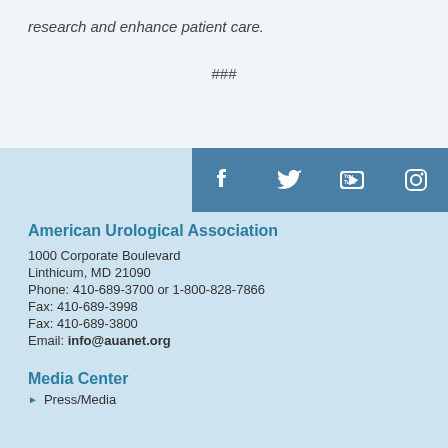research and enhance patient care.
###
[Figure (other): Social media icons: Facebook, Twitter, YouTube, Instagram]
American Urological Association
1000 Corporate Boulevard
Linthicum, MD 21090
Phone: 410-689-3700 or 1-800-828-7866
Fax: 410-689-3998
Fax: 410-689-3800
Email: info@auanet.org
Media Center
Press/Media